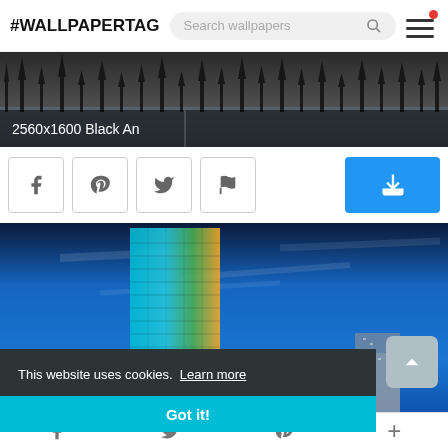#WALLPAPERTAG
[Figure (screenshot): Dark landscape wallpaper with tree silhouettes and water, labeled '2560x1600 Black An']
[Figure (screenshot): Social share buttons: Facebook, Pinterest, Twitter, Flag, and a blue download button]
[Figure (screenshot): Night cityscape with illuminated skyscraper against blue sky]
This website uses cookies. Learn more
Got it!
Bottom navigation icons: Facebook, Twitter, Pinterest, Plus